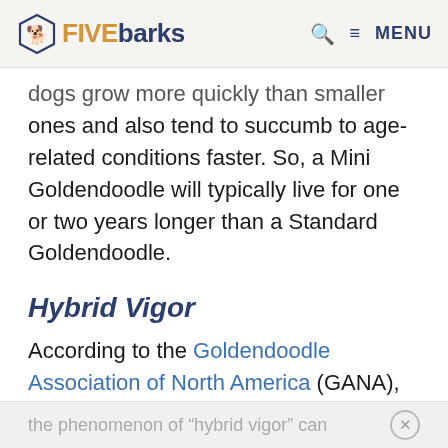FIVEbarks — Q MENU
dogs grow more quickly than smaller ones and also tend to succumb to age-related conditions faster. So, a Mini Goldendoodle will typically live for one or two years longer than a Standard Goldendoodle.
Hybrid Vigor
According to the Goldendoodle Association of North America (GANA), the phenomenon of "hybrid vigor" can
the phenomenon of "hybrid vigor" can